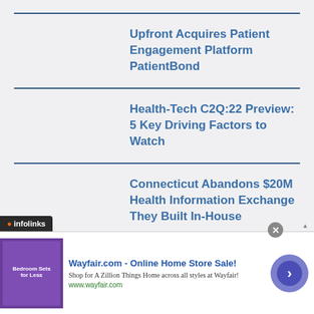Upfront Acquires Patient Engagement Platform PatientBond
Health-Tech C2Q:22 Preview: 5 Key Driving Factors to Watch
Connecticut Abandons $20M Health Information Exchange They Built In-House
[Figure (screenshot): Wayfair advertisement banner with infolinks badge. Ad title: Wayfair.com - Online Home Store Sale! Description: Shop for A Zillion Things Home across all styles at Wayfair! URL: www.wayfair.com. Shows purple bedroom furniture image on left and forward arrow button on right.]